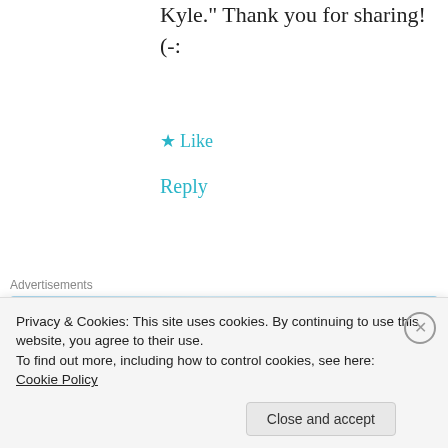Kyle." Thank you for sharing! (-:
★ Like
Reply
Advertisements
[Figure (other): Tumblr Ad-Free advertisement banner showing '$39.99 a year' with a number 1 icon and stars]
Joyce Francis
June 13, 2017 at 9:39 pm
Privacy & Cookies: This site uses cookies. By continuing to use this website, you agree to their use.
To find out more, including how to control cookies, see here:
Cookie Policy
Close and accept